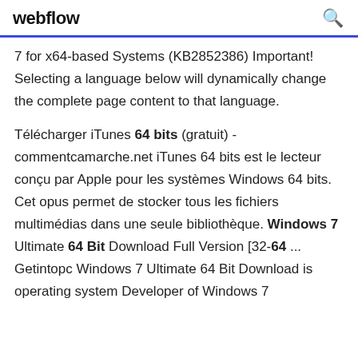webflow
7 for x64-based Systems (KB2852386) Important! Selecting a language below will dynamically change the complete page content to that language.
Télécharger iTunes 64 bits (gratuit) - commentcamarche.net iTunes 64 bits est le lecteur conçu par Apple pour les systèmes Windows 64 bits. Cet opus permet de stocker tous les fichiers multimédias dans une seule bibliothèque. Windows 7 Ultimate 64 Bit Download Full Version [32-64 ... Getintopc Windows 7 Ultimate 64 Bit Download is operating system Developer of Windows 7